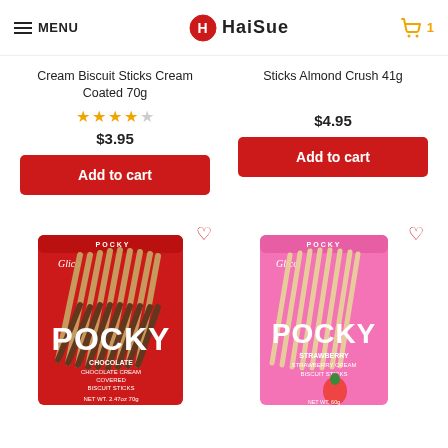MENU | HaiSue | Cart 1
Cream Biscuit Sticks Cream Coated 70g
★★★★☆ $3.95
Add to cart
Sticks Almond Crush 41g
$4.95
Add to cart
[Figure (photo): Glico Pocky Chocolate box - red box with Pocky chocolate covered biscuit sticks, NET WT 2.47oz 70g]
[Figure (photo): Glico Pocky Strawberry box - pink box with Pocky strawberry cream covered biscuit sticks]